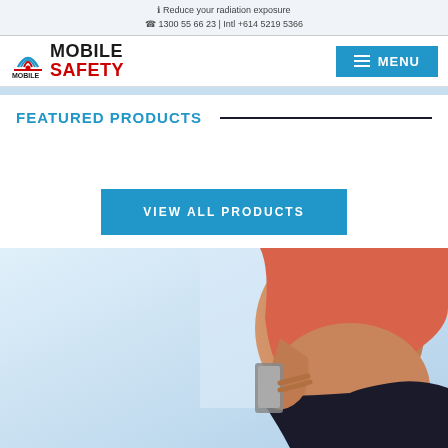Reduce your radiation exposure
1300 55 66 23 | Intl +614 5219 5366
[Figure (logo): Mobile Safety logo with rainbow arc icon, text MOBILE SAFETY]
MENU
FEATURED PRODUCTS
VIEW ALL PRODUCTS
[Figure (photo): Pregnant woman in pink top holding a smartphone near her belly]